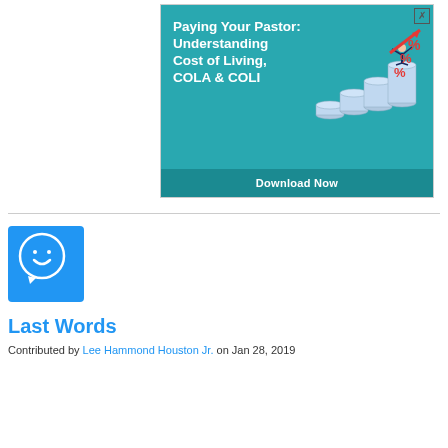[Figure (infographic): Advertisement banner with teal background. Title reads 'Paying Your Pastor: Understanding Cost of Living, COLA & COLI'. Shows stacked coins increasing in height with a businessman holding a red arrow pointing up, and red percentage symbols. Bottom bar says 'Download Now'.]
[Figure (illustration): Blue square icon with a white speech bubble containing a smiley face — avatar/profile image for 'Last Words' article.]
Last Words
Contributed by Lee Hammond Houston Jr. on Jan 28, 2019